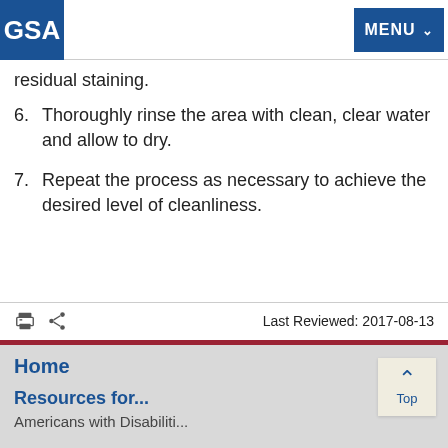GSA | MENU
residual staining.
6. Thoroughly rinse the area with clean, clear water and allow to dry.
7. Repeat the process as necessary to achieve the desired level of cleanliness.
Last Reviewed: 2017-08-13
Home
Resources for...
Americans with Disabilities...